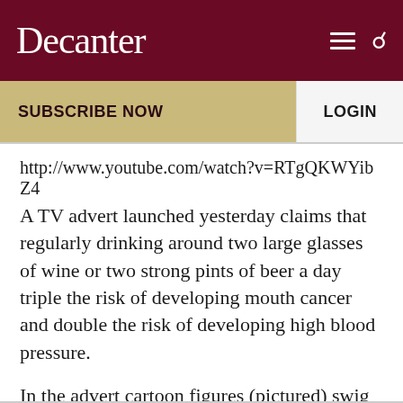Decanter
SUBSCRIBE NOW
LOGIN
http://www.youtube.com/watch?v=RTgQKWYibZ4 A TV advert launched yesterday claims that regularly drinking around two large glasses of wine or two strong pints of beer a day triple the risk of developing mouth cancer and double the risk of developing high blood pressure.
In the advert cartoon figures (pictured) swig wine and beer while a voiceover warns, ‘apparently two